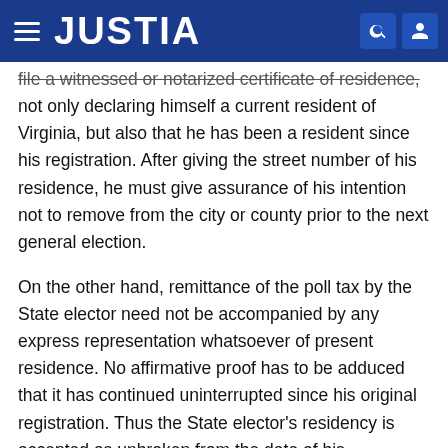JUSTIA
file a witnessed or notarized certificate of residence, not only declaring himself a current resident of Virginia, but also that he has been a resident since his registration. After giving the street number of his residence, he must give assurance of his intention not to remove from the city or county prior to the next general election.
On the other hand, remittance of the poll tax by the State elector need not be accompanied by any express representation whatsoever of present residence. No affirmative proof has to be adduced that it has continued uninterrupted since his original registration. Thus the State elector's residency is accepted as unbroken from the date of his registration. No such presumption is accorded the Federal voter. A positive and yearly renewed guarantee of residence is necessary for casting a Federal vote. True, a State elector may be challenged at the polls for insufficient residence, but this